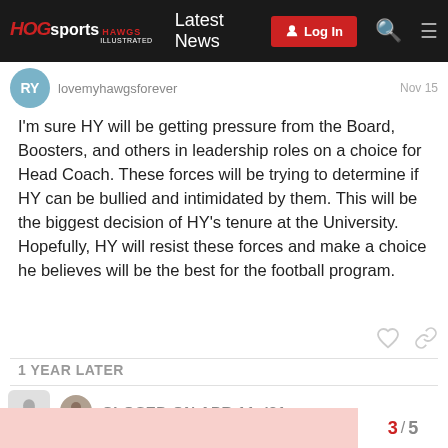HOGsports HAWGS ILLUSTRATED | Latest News | Log In
lovemyhawgsforever   Nov 15
I'm sure HY will be getting pressure from the Board, Boosters, and others in leadership roles on a choice for Head Coach. These forces will be trying to determine if HY can be bullied and intimidated by them. This will be the biggest decision of HY's tenure at the University. Hopefully, HY will resist these forces and make a choice he believes will be the best for the football program.
1 YEAR LATER
CLOSED ON APR 11, '21
3 / 5